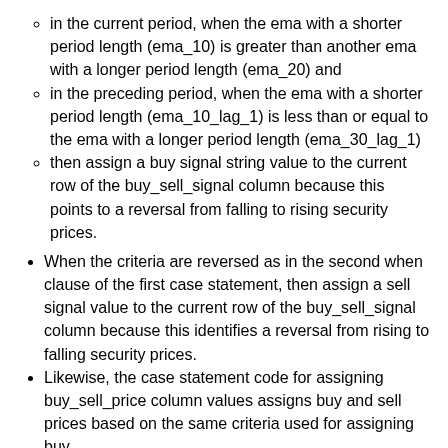in the current period, when the ema with a shorter period length (ema_10) is greater than another ema with a longer period length (ema_20) and
in the preceding period, when the ema with a shorter period length (ema_10_lag_1) is less than or equal to the ema with a longer period length (ema_30_lag_1)
then assign a buy signal string value to the current row of the buy_sell_signal column because this points to a reversal from falling to rising security prices.
When the criteria are reversed as in the second when clause of the first case statement, then assign a sell signal value to the current row of the buy_sell_signal column because this identifies a reversal from rising to falling security prices.
Likewise, the case statement code for assigning buy_sell_price column values assigns buy and sell prices based on the same criteria used for assigning buy